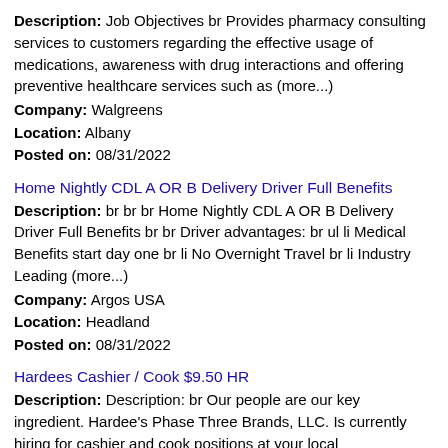Description: Job Objectives br Provides pharmacy consulting services to customers regarding the effective usage of medications, awareness with drug interactions and offering preventive healthcare services such as (more...)
Company: Walgreens
Location: Albany
Posted on: 08/31/2022
Home Nightly CDL A OR B Delivery Driver Full Benefits
Description: br br br Home Nightly CDL A OR B Delivery Driver Full Benefits br br Driver advantages: br ul li Medical Benefits start day one br li No Overnight Travel br li Industry Leading (more...)
Company: Argos USA
Location: Headland
Posted on: 08/31/2022
Hardees Cashier / Cook $9.50 HR
Description: Description: br Our people are our key ingredient. Hardee's Phase Three Brands, LLC. Is currently hiring for cashier and cook positions at your local neighborhood Hardee's Critical skills and abilities (more...)
Company: Phase Three Star LLC
Location: Douglas
Posted on: 08/31/2022